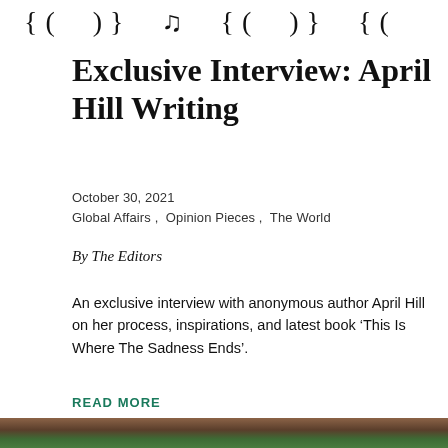[decorative script/logo text at top]
Exclusive Interview: April Hill Writing
October 30, 2021
Global Affairs ,  Opinion Pieces ,  The World
By The Editors
An exclusive interview with anonymous author April Hill on her process, inspirations, and latest book ‘This Is Where The Sadness Ends’.
READ MORE
[Figure (photo): Bottom portion of page showing a partial image, appears to be a leather saddle or similar object against a green outdoor background]